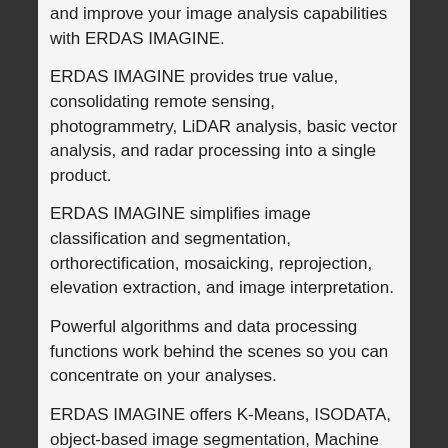and improve your image analysis capabilities with ERDAS IMAGINE.
ERDAS IMAGINE provides true value, consolidating remote sensing, photogrammetry, LiDAR analysis, basic vector analysis, and radar processing into a single product.
ERDAS IMAGINE simplifies image classification and segmentation, orthorectification, mosaicking, reprojection, elevation extraction, and image interpretation.
Powerful algorithms and data processing functions work behind the scenes so you can concentrate on your analyses.
ERDAS IMAGINE offers K-Means, ISODATA, object-based image segmentation, Machine Learning and Deep Learning Artificial Intelligence algorithms.
The Spatial Modeler's graphical editing environment provides flexibility to capture domain expertise and turn it into re-usable algorithms.
ERDAS IMAGINE fully enables the display, editing